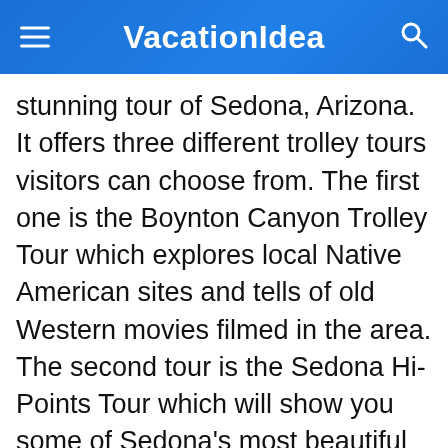VacationIdea
stunning tour of Sedona, Arizona. It offers three different trolley tours visitors can choose from. The first one is the Boynton Canyon Trolley Tour which explores local Native American sites and tells of old Western movies filmed in the area. The second tour is the Sedona Hi-Points Tour which will show you some of Sedona’s most beautiful natural wonders, like Bell Rock, Airport Mesa, and Chapel of the Holy Cross. The last tour option takes you exclusively into Chapel of the Holy Cross. Tour times will